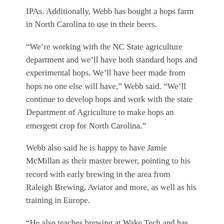IPAs. Additionally, Webb has bought a hops farm in North Carolina to use in their beers.
“We’re working with the NC State agriculture department and we’ll have both standard hops and experimental hops. We’ll have beer made from hops no one else will have,” Webb said. “We’ll continue to develop hops and work with the state Department of Agriculture to make hops an emergent crop for North Carolina.”
Webb also said he is happy to have Jamie McMillan as their master brewer, pointing to his record with early brewing in the area from Raleigh Brewing, Aviator and more, as well as his training in Europe.
“He also teaches brewing at Wake Tech and has taught many of the brewers in town,” Webb said.
Connection to History
Inside the Cotton House location, which is more than a